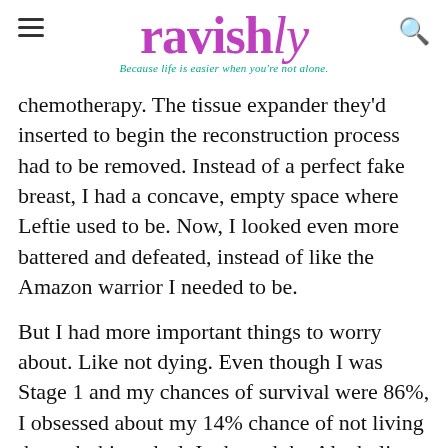ravishly — Because life is easier when you're not alone.
chemotherapy. The tissue expander they'd inserted to begin the reconstruction process had to be removed. Instead of a perfect fake breast, I had a concave, empty space where Leftie used to be. Now, I looked even more battered and defeated, instead of like the Amazon warrior I needed to be.
But I had more important things to worry about. Like not dying. Even though I was Stage 1 and my chances of survival were 86%, I obsessed about my 14% chance of not living through this ordeal. I adopted the Alcoholics Anonymous "one